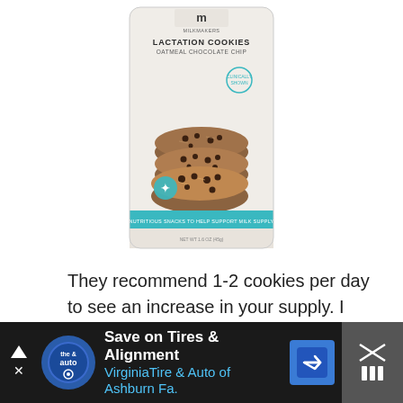[Figure (photo): Product package of Milkmakers Lactation Cookies Oatmeal Chocolate Chip flavor — a white/teal pouch showing stacked oatmeal chocolate chip cookies]
They recommend 1-2 cookies per day to see an increase in your supply. I feel they're a little expensive, but were so easy and really did work wonders for me.
[Figure (screenshot): Advertisement banner: Save on Tires & Alignment — Virginia Tire & Auto of Ashburn Fa. with logo and navigation arrow icon, on dark background]